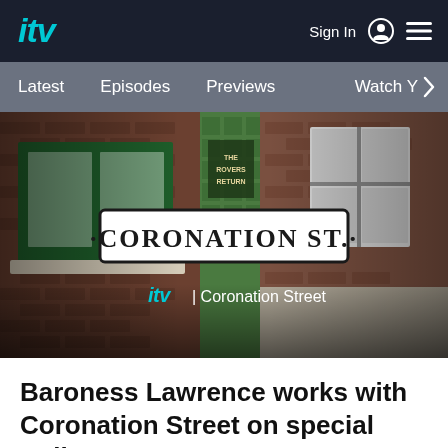ITV | Sign In | Menu
[Figure (screenshot): ITV website navigation bar with ITV logo, Sign In button and hamburger menu on dark navy background]
[Figure (screenshot): Secondary navigation bar with grey background showing: Latest, Episodes, Previews, Watch Y >]
[Figure (photo): Hero image of Coronation Street brick building with green-framed windows and Rovers Return pub sign visible. Coronation Street logo sign overlaid in center. ITV logo and 'Coronation Street' text at bottom.]
Baroness Lawrence works with Coronation Street on special Bailey